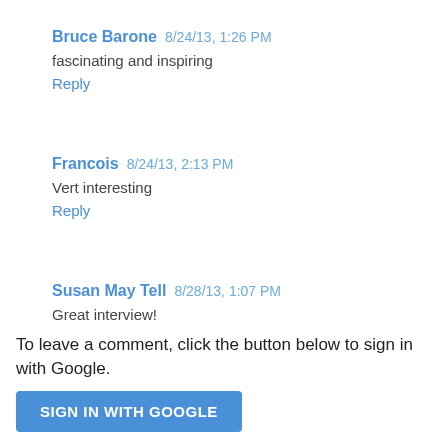Bruce Barone  8/24/13, 1:26 PM
fascinating and inspiring
Reply
Francois  8/24/13, 2:13 PM
Vert interesting
Reply
Susan May Tell  8/28/13, 1:07 PM
Great interview!
Reply
To leave a comment, click the button below to sign in with Google.
SIGN IN WITH GOOGLE